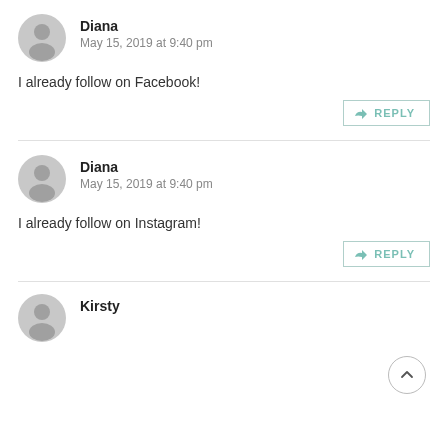Diana
May 15, 2019 at 9:40 pm
I already follow on Facebook!
REPLY
Diana
May 15, 2019 at 9:40 pm
I already follow on Instagram!
REPLY
Kirsty